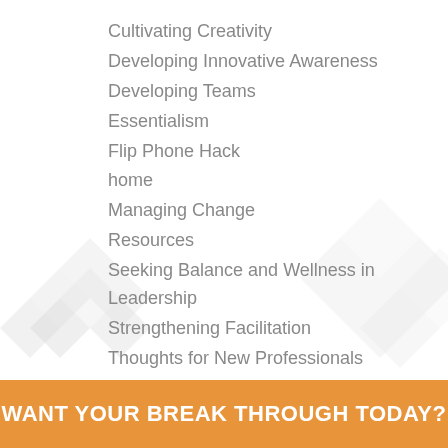Cultivating Creativity
Developing Innovative Awareness
Developing Teams
Essentialism
Flip Phone Hack
home
Managing Change
Resources
Seeking Balance and Wellness in Leadership
Strengthening Facilitation
Thoughts for New Professionals
WANT YOUR BREAK THROUGH TODAY?